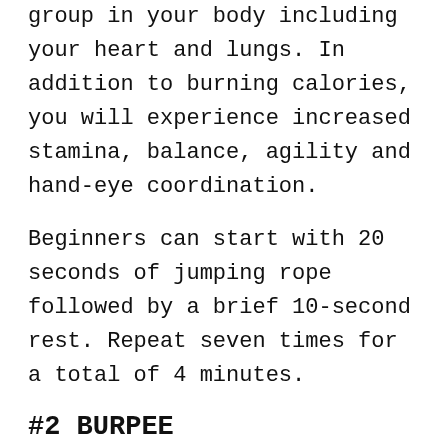group in your body including your heart and lungs. In addition to burning calories, you will experience increased stamina, balance, agility and hand-eye coordination.
Beginners can start with 20 seconds of jumping rope followed by a brief 10-second rest. Repeat seven times for a total of 4 minutes.
#2 BURPEE
The How: Start with your arms at your sides and your feet shoulder-width apart. Transfer your weight into your heels while bending your